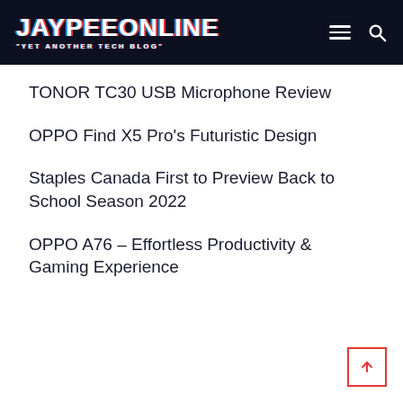JAYPEEONLINE "YET ANOTHER TECH BLOG"
TONOR TC30 USB Microphone Review
OPPO Find X5 Pro's Futuristic Design
Staples Canada First to Preview Back to School Season 2022
OPPO A76 – Effortless Productivity & Gaming Experience